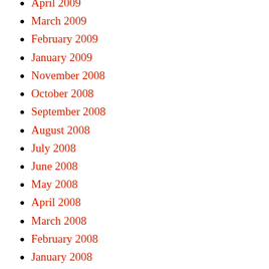April 2009
March 2009
February 2009
January 2009
November 2008
October 2008
September 2008
August 2008
July 2008
June 2008
May 2008
April 2008
March 2008
February 2008
January 2008
December 2007